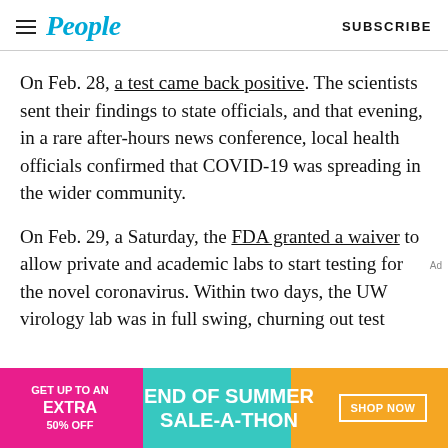People | SUBSCRIBE
On Feb. 28, a test came back positive. The scientists sent their findings to state officials, and that evening, in a rare after-hours news conference, local health officials confirmed that COVID-19 was spreading in the wider community.
On Feb. 29, a Saturday, the FDA granted a waiver to allow private and academic labs to start testing for the novel coronavirus. Within two days, the UW virology lab was in full swing, churning out test
[Figure (other): Advertisement banner: GET UP TO AN EXTRA 50% OFF — END OF SUMMER SALE-A-THON — SHOP NOW button]